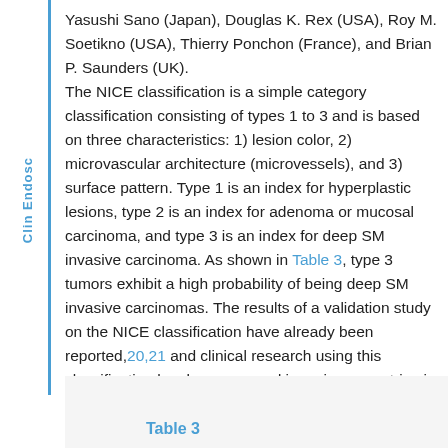Yasushi Sano (Japan), Douglas K. Rex (USA), Roy M. Soetikno (USA), Thierry Ponchon (France), and Brian P. Saunders (UK).
The NICE classification is a simple category classification consisting of types 1 to 3 and is based on three characteristics: 1) lesion color, 2) microvascular architecture (microvessels), and 3) surface pattern. Type 1 is an index for hyperplastic lesions, type 2 is an index for adenoma or mucosal carcinoma, and type 3 is an index for deep SM invasive carcinoma. As shown in Table 3, type 3 tumors exhibit a high probability of being deep SM invasive carcinomas. The results of a validation study on the NICE classification have already been reported,20,21 and clinical research using this classification has been pursued in various countries in the world.
Clin Endosc
Table 3